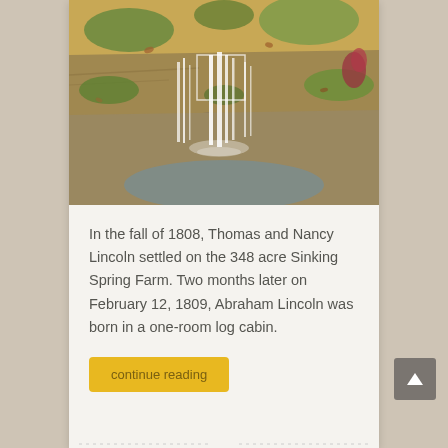[Figure (photo): Photo of a waterfall flowing over mossy green and tan rocky ledges, with water cascading down in thin streams into a pool below.]
In the fall of 1808, Thomas and Nancy Lincoln settled on the 348 acre Sinking Spring Farm. Two months later on February 12, 1809, Abraham Lincoln was born in a one-room log cabin.
continue reading